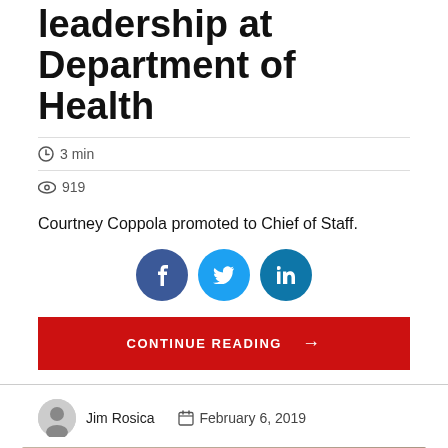leadership at Department of Health
3 min
919
Courtney Coppola promoted to Chief of Staff.
[Figure (other): Social share buttons: Facebook (f), Twitter (bird), LinkedIn (in)]
CONTINUE READING →
Jim Rosica   February 6, 2019
[Figure (photo): Photo of people in a room, partially cropped at bottom of page]